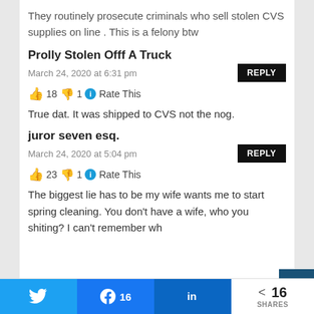They routinely prosecute criminals who sell stolen CVS supplies on line . This is a felony btw
Prolly Stolen Offf A Truck
March 24, 2020 at 6:31 pm
REPLY
👍 18 👎 1 ℹ Rate This
True dat. It was shipped to CVS not the nog.
juror seven esq.
March 24, 2020 at 5:04 pm
REPLY
👍 23 👎 1 ℹ Rate This
The biggest lie has to be my wife wants me to start spring cleaning. You don't have a wife, who you shiting? I can't remember wh
[Figure (infographic): Social share bar with Twitter, Facebook (16 shares), LinkedIn buttons and share count of 16]